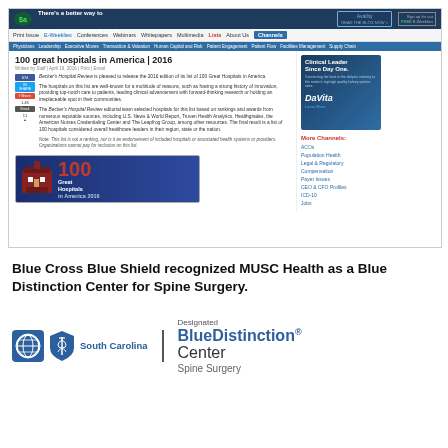[Figure (screenshot): Screenshot of Becker's Hospital Review website showing '100 great hospitals in America | 2016' article with navigation bar, social sharing buttons, article text, sidebar ad for DaVita, More Channels links, and a '100 Great Hospitals in America 2016' banner image.]
Blue Cross Blue Shield recognized MUSC Health as a Blue Distinction Center for Spine Surgery.
[Figure (logo): Blue Cross Blue Shield of South Carolina logo alongside 'Designated BlueDistinction Center Spine Surgery' badge.]